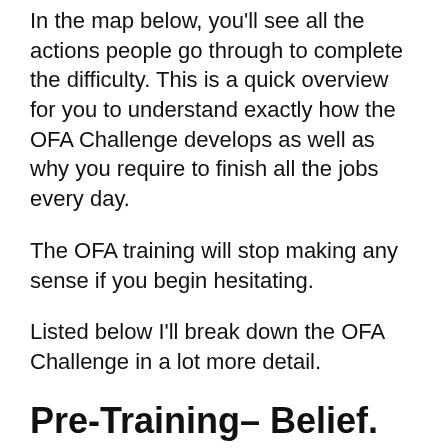In the map below, you'll see all the actions people go through to complete the difficulty. This is a quick overview for you to understand exactly how the OFA Challenge develops as well as why you require to finish all the jobs every day.
The OFA training will stop making any sense if you begin hesitating.
Listed below I'll break down the OFA Challenge in a lot more detail.
Pre-Training– Belief.
The pre-training week starts with frame of mind. Our beliefs are important to the method we make our service work. Because